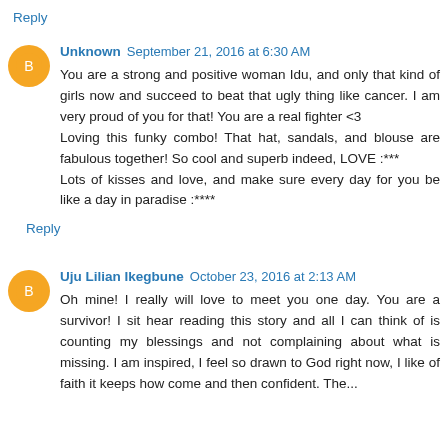Reply
Unknown  September 21, 2016 at 6:30 AM
You are a strong and positive woman Idu, and only that kind of girls now and succeed to beat that ugly thing like cancer. I am very proud of you for that! You are a real fighter <3
Loving this funky combo! That hat, sandals, and blouse are fabulous together! So cool and superb indeed, LOVE :***
Lots of kisses and love, and make sure every day for you be like a day in paradise :****
Reply
Uju Lilian Ikegbune  October 23, 2016 at 2:13 AM
Oh mine! I really will love to meet you one day. You are a survivor! I sit hear reading this story and all I can think of is counting my blessings and not complaining about what is missing. I am inspired, I feel so drawn to God right now, I like of faith it keeps how come and then confident. The...